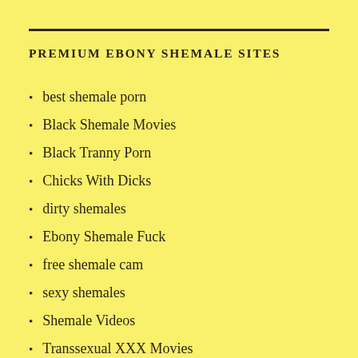PREMIUM EBONY SHEMALE SITES
best shemale porn
Black Shemale Movies
Black Tranny Porn
Chicks With Dicks
dirty shemales
Ebony Shemale Fuck
free shemale cam
sexy shemales
Shemale Videos
Transsexual XXX Movies
XXX Shemale Porn